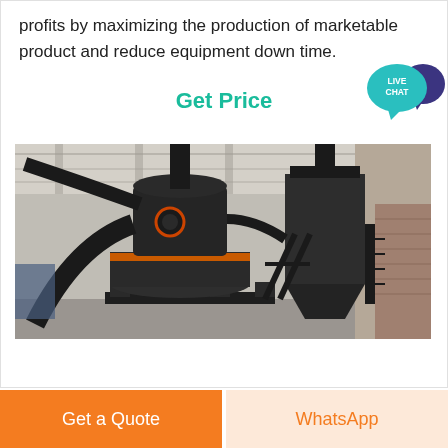profits by maximizing the production of marketable product and reduce equipment down time.
Get Price
[Figure (photo): Industrial grinding mill equipment inside a factory building. Shows a large vertical cylindrical grinding machine with black metal construction, orange band around middle section, connected pipes and ducts, and a large dust collector/hopper to the right. Concrete industrial building interior visible in background.]
Get a Quote
WhatsApp